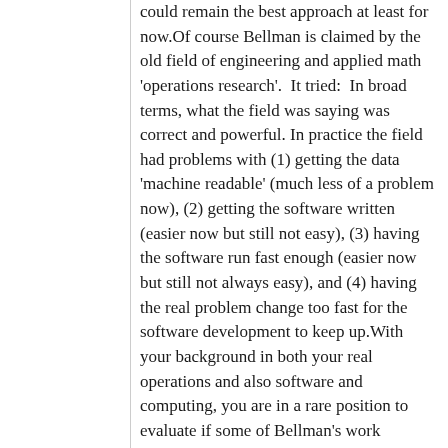could remain the best approach at least for now.Of course Bellman is claimed by the old field of engineering and applied math 'operations research'.  It tried:  In broad terms, what the field was saying was correct and powerful.  In practice the field had problems with (1) getting the data 'machine readable' (much less of a problem now), (2) getting the software written (easier now but still not easy), (3) having the software run fast enough (easier now but still not always easy), and (4) having the real problem change too fast for the software development to keep up.With your background in both your real operations and also software and computing, you are in a rare position to evaluate if some of Bellman's work